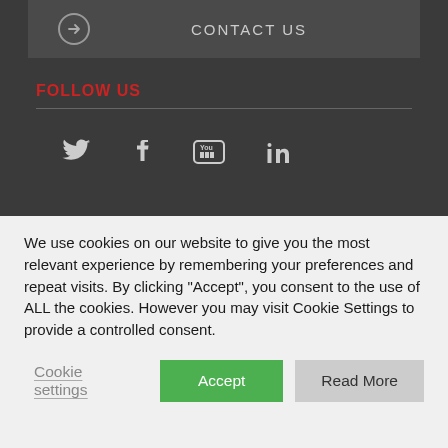CONTACT US
FOLLOW US
[Figure (infographic): Social media icons: Twitter, Facebook, YouTube, LinkedIn]
© 2022 Management Centre Europe, All rights reserved. Phone: +32 (0)
We use cookies on our website to give you the most relevant experience by remembering your preferences and repeat visits. By clicking "Accept", you consent to the use of ALL the cookies. However you may visit Cookie Settings to provide a controlled consent.
Cookie settings | Accept | Read More